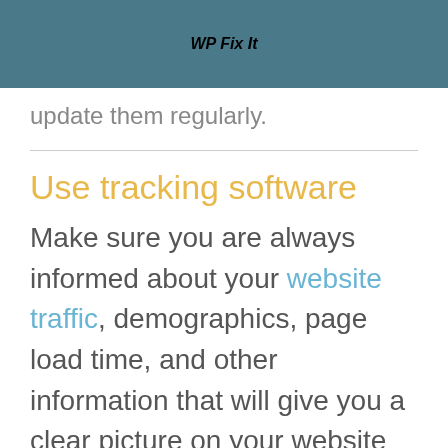WP Fix It
update them regularly.
Use tracking software
Make sure you are always informed about your website traffic, demographics, page load time, and other information that will give you a clear picture on your website performance. You will have the